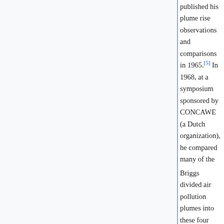published his plume rise observations and comparisons in 1965.[5] In 1968, at a symposium sponsored by CONCAWE (a Dutch organization), he compared many of the plume rise models then available in the literature.[6] In that same year, Briggs also wrote the section of the publication edited by Slade[7] dealing with the comparative analyses of plume rise models. That was followed in 1969 by his classical critical review of the entire plume rise literature,[8] in which he proposed a set of plume rise equations which have became widely known as "the Briggs equations". Subsequently, Briggs modified his 1969 plume rise equations in 1971 and in 1972.[9][10]
Briggs divided air pollution plumes into these four general categories: